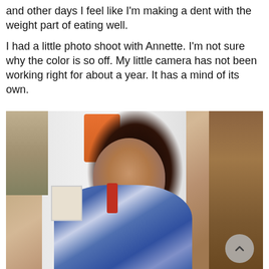and other days I feel like I'm making a dent with the weight part of eating well.
I had a little photo shoot with Annette. I'm not sure why the color is so off. My little camera has not been working right for about a year. It has a mind of its own.
[Figure (photo): Photo of a woman with long dark curly hair, wearing a blue and white patterned shirt, standing in front of a white refrigerator with magnets and photos, with wood cabinets visible on the right side. There is a scroll-up button in the bottom right corner of the image.]